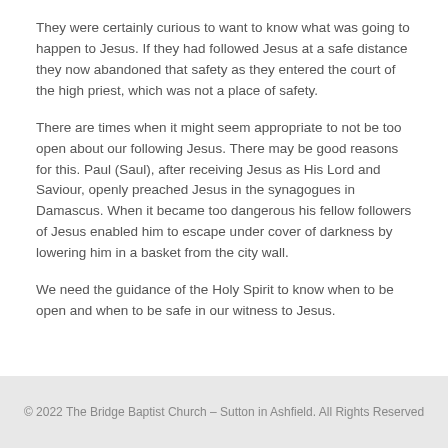They were certainly curious to want to know what was going to happen to Jesus. If they had followed Jesus at a safe distance they now abandoned that safety as they entered the court of the high priest, which was not a place of safety.
There are times when it might seem appropriate to not be too open about our following Jesus. There may be good reasons for this. Paul (Saul), after receiving Jesus as His Lord and Saviour, openly preached Jesus in the synagogues in Damascus. When it became too dangerous his fellow followers of Jesus enabled him to escape under cover of darkness by lowering him in a basket from the city wall.
We need the guidance of the Holy Spirit to know when to be open and when to be safe in our witness to Jesus.
© 2022 The Bridge Baptist Church – Sutton in Ashfield. All Rights Reserved